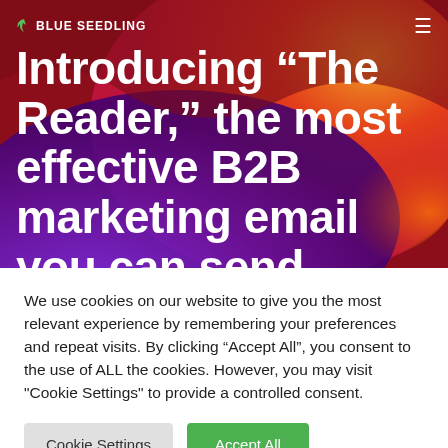Blue Seedling
Introducing “The Reader,” the most effective B2B marketing email you can send
We use cookies on our website to give you the most relevant experience by remembering your preferences and repeat visits. By clicking “Accept All”, you consent to the use of ALL the cookies. However, you may visit "Cookie Settings" to provide a controlled consent.
Cookie Settings | Accept All